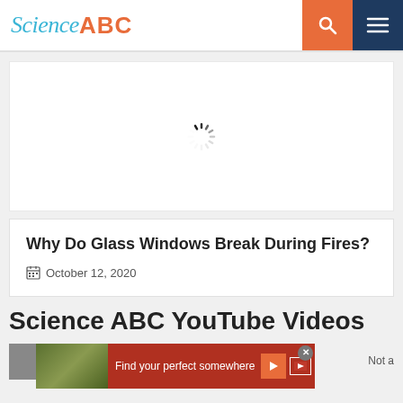Science ABC
[Figure (other): Loading spinner (circular dashed indicator) indicating video content is loading]
Why Do Glass Windows Break During Fires?
October 12, 2020
Science ABC YouTube Videos
[Figure (screenshot): Advertisement banner showing 'Find your perfect somewhere' with video thumbnail, play button, and close button. Text 'Not a' visible on right side.]